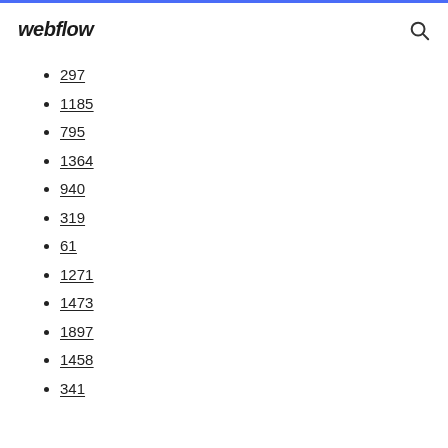webflow
297
1185
795
1364
940
319
61
1271
1473
1897
1458
341